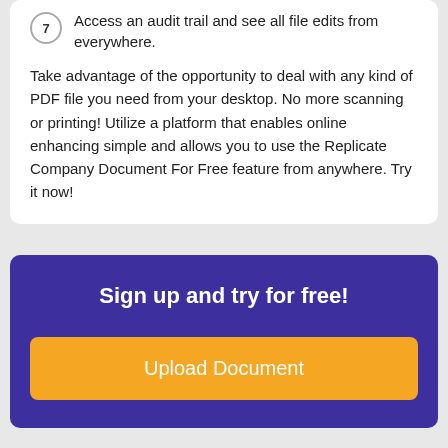7 Access an audit trail and see all file edits from everywhere.
Take advantage of the opportunity to deal with any kind of PDF file you need from your desktop. No more scanning or printing! Utilize a platform that enables online enhancing simple and allows you to use the Replicate Company Document For Free feature from anywhere. Try it now!
Sign up and try for free!
Upload Document